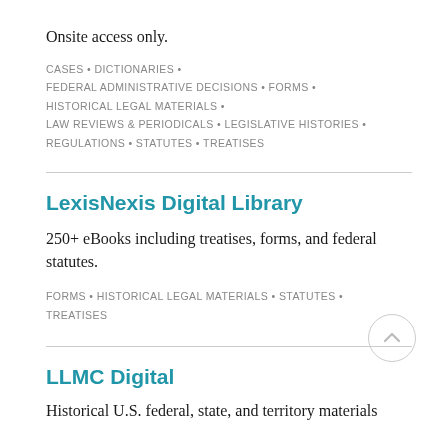Onsite access only.
CASES • DICTIONARIES • FEDERAL ADMINISTRATIVE DECISIONS • FORMS • HISTORICAL LEGAL MATERIALS • LAW REVIEWS & PERIODICALS • LEGISLATIVE HISTORIES • REGULATIONS • STATUTES • TREATISES
LexisNexis Digital Library
250+ eBooks including treatises, forms, and federal statutes.
FORMS • HISTORICAL LEGAL MATERIALS • STATUTES • TREATISES
LLMC Digital
Historical U.S. federal, state, and territory materials